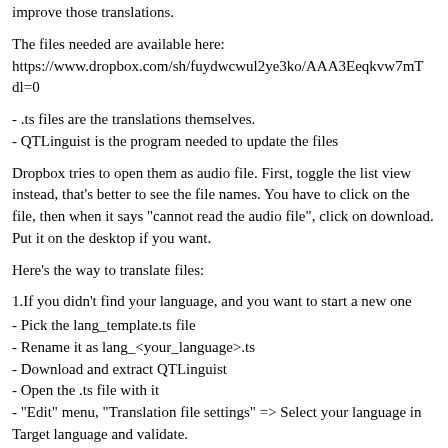improve those translations.
The files needed are available here: https://www.dropbox.com/sh/fuydwcwul2ye3ko/AAA3Eeqkvw7mT dl=0
- .ts files are the translations themselves.
- QTLinguist is the program needed to update the files
Dropbox tries to open them as audio file. First, toggle the list view instead, that's better to see the file names. You have to click on the file, then when it says "cannot read the audio file", click on download. Put it on the desktop if you want.
Here's the way to translate files:
1.If you didn't find your language, and you want to start a new one
- Pick the lang_template.ts file
- Rename it as lang_<your_language>.ts
- Download and extract QTLinguist
- Open the .ts file with it
- "Edit" menu, "Translation file settings" => Select your language in Target language and validate.
2.If you want to update an existing translation
- Pick the language you want to update .ts file